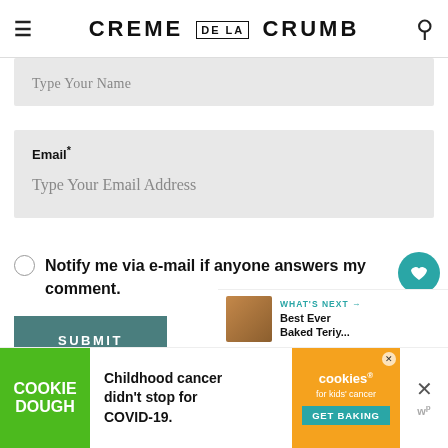CREME DE LA CRUMB
Type Your Name
Email*
Type Your Email Address
Notify me via e-mail if anyone answers my comment.
SUBMIT
[Figure (screenshot): What's Next promo bar with food thumbnail and text: Best Ever Baked Teriy...]
[Figure (infographic): Cookie Dough ad banner: Childhood cancer didn't stop for COVID-19. GET BAKING]